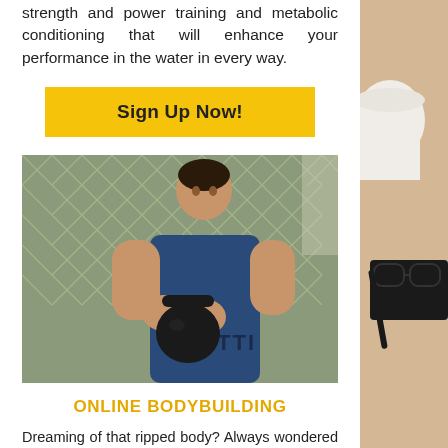The program consists of functional training, strength and power training and metabolic conditioning that will enhance your performance in the water in every way.
Sign Up Now!
[Figure (photo): A man holding a kettlebell in front of a chain-link fence, wearing a blue shirt with 'BOTTLE' text visible.]
ONLINE BODYBUILDING
Dreaming of that ripped body? Always wondered what your body would look like & how you'd feel at 10% Body Fat?
Well dream no more, with our Personal Bodybuilding Program your dream is about to become a reality. We will teach